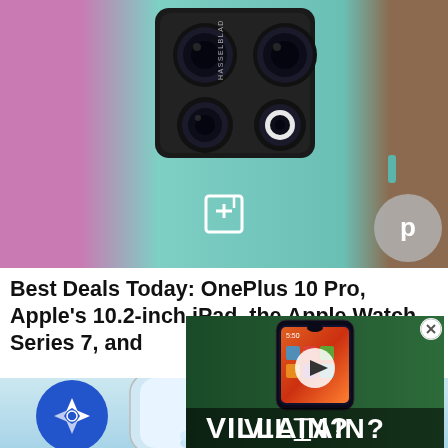[Figure (photo): Back of a OnePlus 10 Pro smartphone in emerald green color with Hasselblad quad-camera module, set against a pink/purple and brown background. A gray circle with a 'p' icon is visible in the lower right.]
Best Deals Today: OnePlus 10 Pro, Apple's 10.2-inch iPad, the Apple Watch Series 7, and
[Figure (screenshot): Video overlay showing a OnePlus smartphone with a play button icon in the center and text 'VILLAIN?' at the bottom in white bold letters on a dark green background. An X close button is in the top-right corner.]
[Figure (photo): Bottom strip showing a partial view of a phone screen edge with a blue circular icon featuring a stylized arrow/compass logo on the left.]